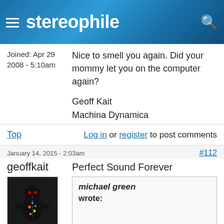stereophile
Joined: Apr 29 2008 - 5:10am
Nice to smell you again. Did your mommy let you on the computer again?

Geoff Kait
Machina Dynamica
Top   Log in or register to post comments
January 14, 2015 - 2:03am   #112
geoffkait
Perfect Sound Forever
[Figure (photo): Avatar photo of a small dark voodoo doll figurine with colorful decorations]
michael green wrote: